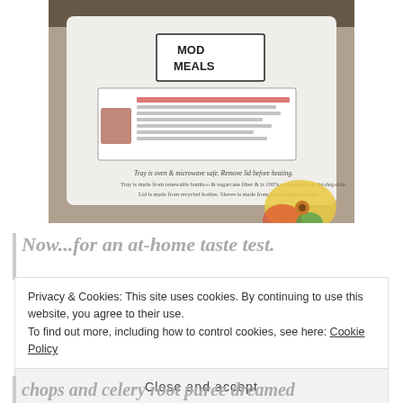[Figure (photo): Photo of a Mod Meals food packaging tray showing label with 'MOD MEALS', dish name 'Braised pork chop, celery root puree' by Chef Karen Small, with heating instructions, and decorative floral pattern on tray]
Now...for an at-home taste test.
Privacy & Cookies: This site uses cookies. By continuing to use this website, you agree to their use.
To find out more, including how to control cookies, see here: Cookie Policy
Close and accept
chops and celery root puree dreamed